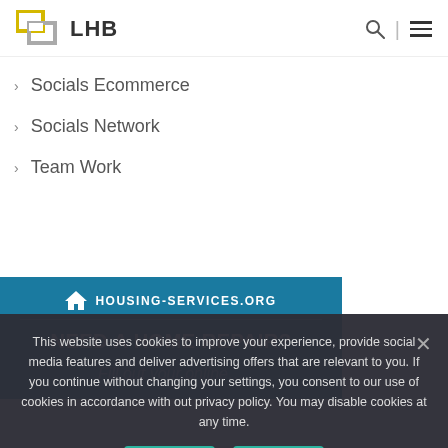LHB
Socials Ecommerce
Socials Network
Team Work
[Figure (screenshot): Blue banner with house icon, HOUSING-SERVICES.ORG text, horizontal rule, and bold heading NEED A HOME REPAIR? with italic subtitle text]
This website uses cookies to improve your experience, provide social media features and deliver advertising offers that are relevant to you. If you continue without changing your settings, you consent to our use of cookies in accordance with out privacy policy. You may disable cookies at any time.
Ok   No